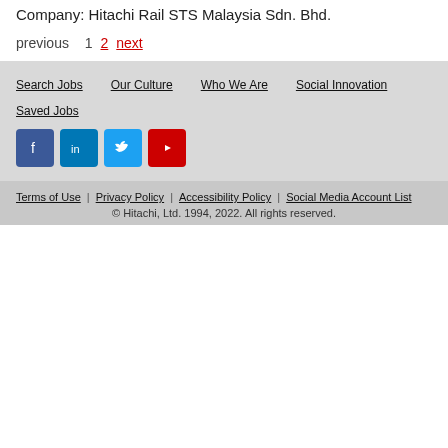Company: Hitachi Rail STS Malaysia Sdn. Bhd.
previous  1  2  next
Search Jobs
Our Culture
Who We Are
Social Innovation
Saved Jobs
[Figure (other): Social media icons: Facebook, LinkedIn, Twitter, YouTube]
Terms of Use | Privacy Policy | Accessibility Policy | Social Media Account List
© Hitachi, Ltd. 1994, 2022. All rights reserved.